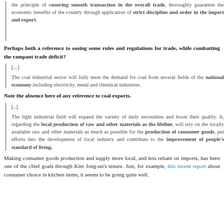the principle of ensuring smooth transaction in the overall trade, thoroughly guarantee the economic benefits of the country through application of strict discipline and order in the import and export.
Perhaps both a reference to easing some rules and regulations for trade, while combatting the rampant trade deficit?
[...]
The coal industrial sector will fully meet the demand for coal from several fields of the national economy including electricity, metal and chemical industries.
Note the absence here of any reference to coal exports.
[..]
The light industrial field will expand the variety of daily necessities and boost their quality. It, regarding the local production of raw and other materials as the lifeline, will rely on the locally available raw and other materials as much as possible for the production of consumer goods, put efforts into the development of local industry and contribute to the improvement of people's standard of living.
Making consumer goods production and supply more local, and less reliant on imports, has been one of the chief goals through Kim Jong-un's tenure. Just, for example, this recent report about consumer choice in kitchen items, it seems to be going quite well.